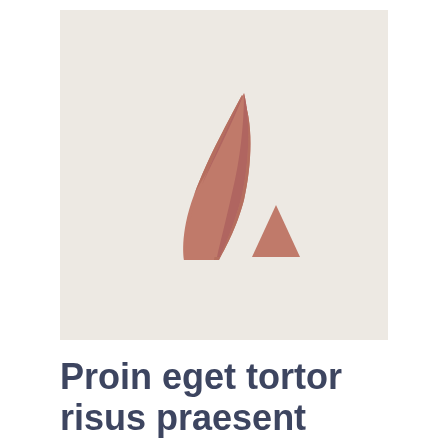[Figure (logo): A stylized logo on a light beige/cream background consisting of two shapes in a muted terracotta/salmon color: a large curved triangular shape resembling a left-leaning mountain or sail, and a smaller solid triangle to its right, together forming an abstract letter-A or mountain motif.]
Proin eget tortor risus praesent